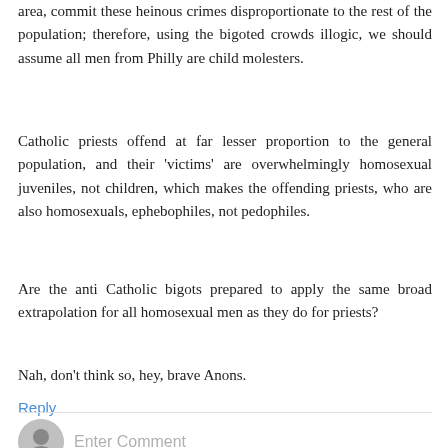area, commit these heinous crimes disproportionate to the rest of the population; therefore, using the bigoted crowds illogic, we should assume all men from Philly are child molesters.
Catholic priests offend at far lesser proportion to the general population, and their 'victims' are overwhelmingly homosexual juveniles, not children, which makes the offending priests, who are also homosexuals, ephebophiles, not pedophiles.
Are the anti Catholic bigots prepared to apply the same broad extrapolation for all homosexual men as they do for priests?
Nah, don't think so, hey, brave Anons.
Reply
Enter Comment